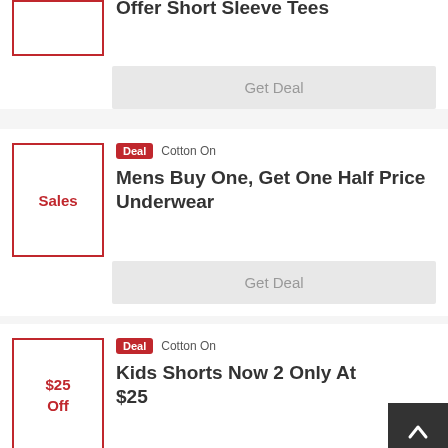Mens Buy One, Get One Half Offer Short Sleeve Tees
Get Deal
Deal  Cotton On
[Figure (other): Thumbnail box with red border showing 'Sales' text in red]
Mens Buy One, Get One Half Price Underwear
Get Deal
Deal  Cotton On
[Figure (other): Thumbnail box with red border showing '$25 Off' text in red]
Kids Shorts Now 2 Only At $25
Get Deal